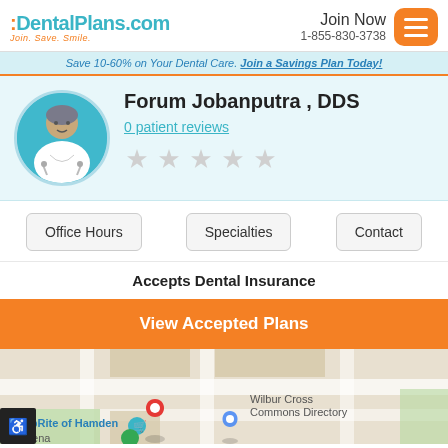DentalPlans.com | Join Now 1-855-830-3738
Save 10-60% on Your Dental Care. Join a Savings Plan Today!
Forum Jobanputra , DDS
0 patient reviews
Office Hours | Specialties | Contact
Accepts Dental Insurance
View Accepted Plans
[Figure (map): Google Maps embed showing ShopRite of Hamden and Wilbur Cross Commons Directory area with a red location pin]